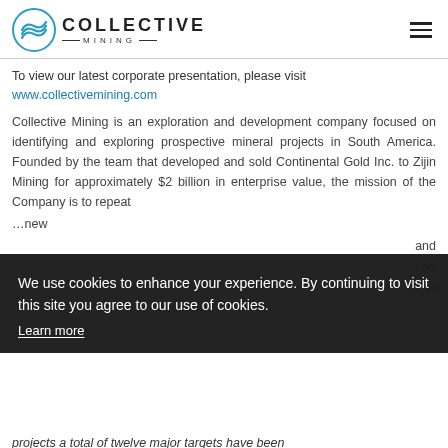Collective Mining logo and navigation header
To view our latest corporate presentation, please visit www.collectivemining.com
Collective Mining is an exploration and development company focused on identifying and exploring prospective mineral projects in South America. Founded by the team that developed and sold Continental Gold Inc. to Zijin Mining for approximately $2 billion in enterprise value, the mission of the Company is to repeat … new … and … ed … on to
We use cookies to enhance your experience. By continuing to visit this site you agree to our use of cookies. Learn more
Got it!
projects a total of twelve major targets have been